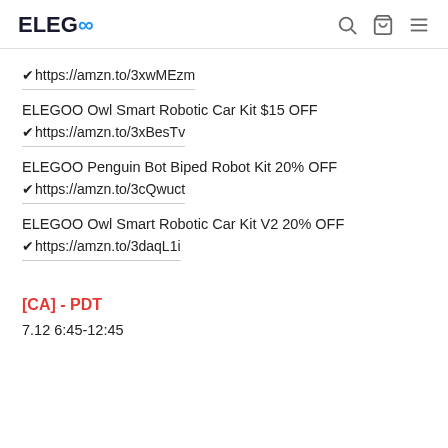ELEGOO
✔https://amzn.to/3xwMEzm
ELEGOO Owl Smart Robotic Car Kit $15 OFF
✔https://amzn.to/3xBesTv
ELEGOO Penguin Bot Biped Robot Kit 20% OFF
✔https://amzn.to/3cQwuct
ELEGOO Owl Smart Robotic Car Kit V2 20% OFF
✔https://amzn.to/3daqL1i
[CA] - PDT
7.12 6:45-12:45